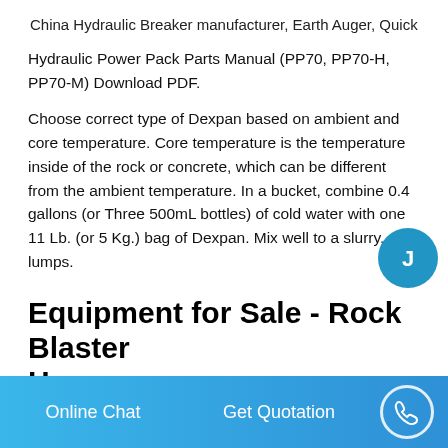China Hydraulic Breaker manufacturer, Earth Auger, Quick
Hydraulic Power Pack Parts Manual (PP70, PP70-H, PP70-M) Download PDF.
Choose correct type of Dexpan based on ambient and core temperature. Core temperature is the temperature inside of the rock or concrete, which can be different from the ambient temperature. In a bucket, combine 0.4 gallons (or Three 500mL bottles) of cold water with one 11 Lb. (or 5 Kg.) bag of Dexpan. Mix well to a slurry, no lumps.
Equipment for Sale - Rock Blaster H...
Online Chat    Get Quotation